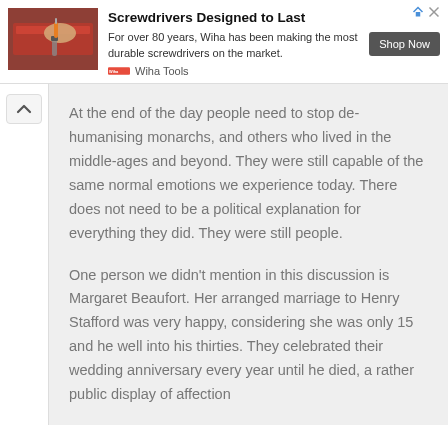[Figure (infographic): Advertisement banner for Wiha Tools showing a person using a screwdriver, with ad title 'Screwdrivers Designed to Last', description text, Shop Now button, and Wiha Tools logo.]
At the end of the day people need to stop de-humanising monarchs, and others who lived in the middle-ages and beyond. They were still capable of the same normal emotions we experience today. There does not need to be a political explanation for everything they did. They were still people.
One person we didn't mention in this discussion is Margaret Beaufort. Her arranged marriage to Henry Stafford was very happy, considering she was only 15 and he well into his thirties. They celebrated their wedding anniversary every year until he died, a rather public display of affection